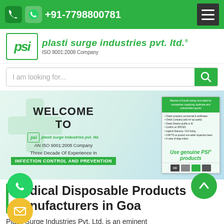+91-7798800781
[Figure (logo): Plasti Surge Industries Pvt. Ltd. logo with PSI emblem, green italic company name, and ISO 9001:2008 Company label]
I am looking for...
[Figure (infographic): Website banner showing 'WELCOME TO plasti surge industries pvt. ltd. Three Decade Of Experience In INFECTION CONTROL AND PREVENTION' text on left and a product brochure card on right with 'Use genuine PSI products' text, CE and other certification icons]
Medical Disposable Products Manufacturers in Goa
Plasti Surge Industries Pvt. Ltd. is an eminent